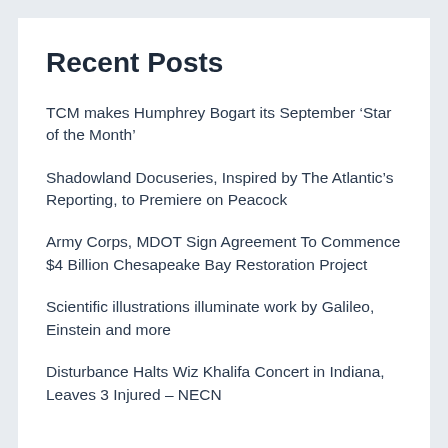Recent Posts
TCM makes Humphrey Bogart its September ‘Star of the Month’
Shadowland Docuseries, Inspired by The Atlantic’s Reporting, to Premiere on Peacock
Army Corps, MDOT Sign Agreement To Commence $4 Billion Chesapeake Bay Restoration Project
Scientific illustrations illuminate work by Galileo, Einstein and more
Disturbance Halts Wiz Khalifa Concert in Indiana, Leaves 3 Injured – NECN